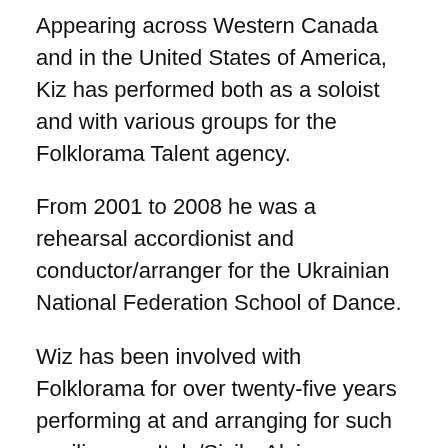Appearing across Western Canada and in the United States of America, Kiz has performed both as a soloist and with various groups for the Folklorama Talent agency.
From 2001 to 2008 he was a rehearsal accordionist and conductor/arranger for the Ukrainian National Federation School of Dance.
Wiz has been involved with Folklorama for over twenty-five years performing at and arranging for such pavilions as Italy/Sicily, Alpine (German/Austrian), Brazil, Kiev (Ukrainian) and most recently, the Spirit of Ukraine pavilion.
Wiz currently leads and arranges for several of